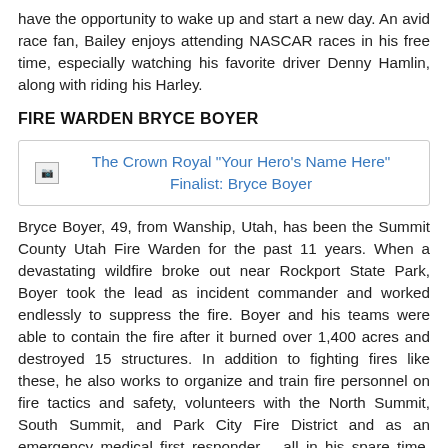have the opportunity to wake up and start a new day. An avid race fan, Bailey enjoys attending NASCAR races in his free time, especially watching his favorite driver Denny Hamlin, along with riding his Harley.
FIRE WARDEN BRYCE BOYER
[Figure (illustration): Image placeholder with caption: The Crown Royal "Your Hero's Name Here" Finalist: Bryce Boyer]
Bryce Boyer, 49, from Wanship, Utah, has been the Summit County Utah Fire Warden for the past 11 years. When a devastating wildfire broke out near Rockport State Park, Boyer took the lead as incident commander and worked endlessly to suppress the fire. Boyer and his teams were able to contain the fire after it burned over 1,400 acres and destroyed 15 structures. In addition to fighting fires like these, he also works to organize and train fire personnel on fire tactics and safety, volunteers with the North Summit, South Summit, and Park City Fire District and as an emergency medical first responder – all in his spare time. Boyer also is the emergency coordinator for The Wanship and